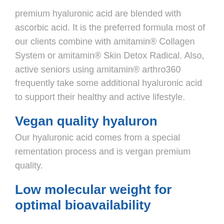premium hyaluronic acid are blended with ascorbic acid. It is the preferred formula most of our clients combine with amitamin® Collagen System or amitamin® Skin Detox Radical. Also, active seniors using amitamin® arthro360 frequently take some additional hyaluronic acid to support their healthy and active lifestyle.
Vegan quality hyaluron
Our hyaluronic acid comes from a special rementation process and is vergan premium quality.
Low molecular weight for optimal bioavailability